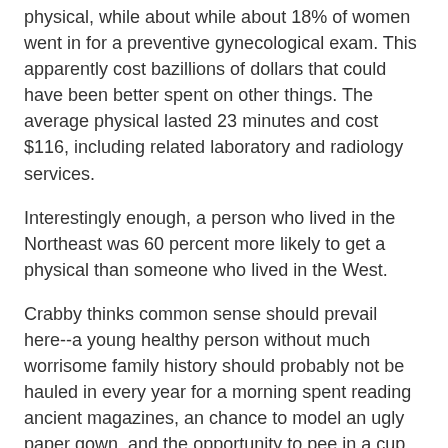physical, while about while about 18% of women went in for a preventive gynecological exam. This apparently cost bazillions of dollars that could have been better spent on other things. The average physical lasted 23 minutes and cost $116, including related laboratory and radiology services.
Interestingly enough, a person who lived in the Northeast was 60 percent more likely to get a physical than someone who lived in the West.
Crabby thinks common sense should prevail here--a young healthy person without much worrisome family history should probably not be hauled in every year for a morning spent reading ancient magazines, an chance to model an ugly paper gown, and the opportunity to pee in a cup (or all over her hand, if she's got bad aim. TMI? Sorry). On the other hand, it's probably not a good idea to play hooky from the Doctor's office indefinitely, especially if you're getting on in years, have no idea what your cholesterol or other important numbers look like, and have family members who are in the habit of dropping dead at young ages.